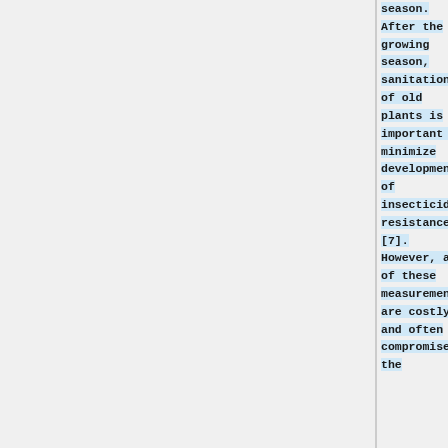season. After the growing season, sanitation of old plants is important to minimize development of insecticide resistance [7]. However, all of these measurements are costly and often compromise the